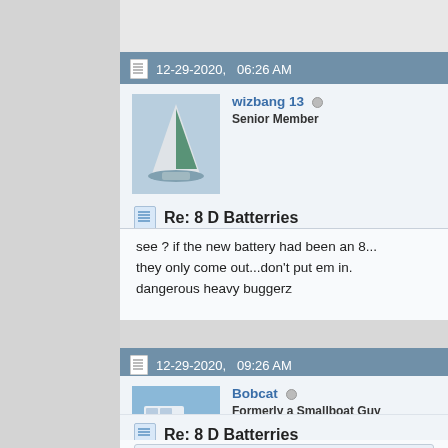12-29-2020, 06:26 AM
wizbang 13
Senior Member
Re: 8 D Batterries
see ? if the new battery had been an 8...
they only come out...don't put em in.
dangerous heavy buggerz
12-29-2020, 09:26 AM
Bobcat
Formerly a Smallboat Guy
Re: 8 D Batterries